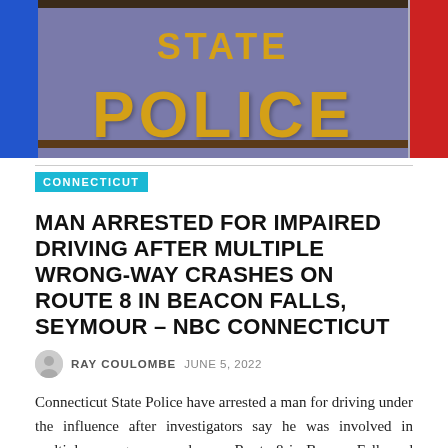[Figure (photo): Close-up of a State Police sign with yellow letters on a purple/blue background, flanked by blue and red bars]
CONNECTICUT
MAN ARRESTED FOR IMPAIRED DRIVING AFTER MULTIPLE WRONG-WAY CRASHES ON ROUTE 8 IN BEACON FALLS, SEYMOUR – NBC CONNECTICUT
RAY COULOMBE  JUNE 5, 2022
Connecticut State Police have arrested a man for driving under the influence after investigators say he was involved in multiple wrong-way crashes on Route 8 in Beacon Falls and Seymour on Saturday night. Troopers received multiple 911 calls about reports of wrong-way drivers on Route 8...